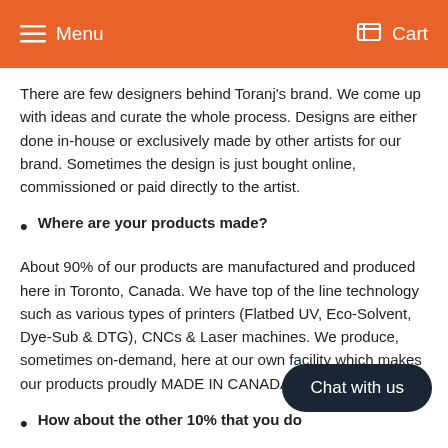Menu  Cart
There are few designers behind Toranj's brand. We come up with ideas and curate the whole process. Designs are either done in-house or exclusively made by other artists for our brand. Sometimes the design is just bought online, commissioned or paid directly to the artist.
Where are your products made?
About 90% of our products are manufactured and produced here in Toronto, Canada. We have top of the line technology such as various types of printers (Flatbed UV, Eco-Solvent, Dye-Sub & DTG), CNCs & Laser machines. We produce, sometimes on-demand, here at our own facility which makes our products proudly MADE IN CANADA.
How about the other 10% that you do...
We work with few brands, individuals or... Canada or abroad, We are either their official distributor or simply a reseller of their products under the umbrella of